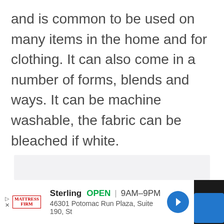and is common to be used on many items in the home and for clothing. It can also come in a number of forms, blends and ways. It can be machine washable, the fabric can be bleached if white.
[Figure (other): Gray placeholder box for an image or advertisement content]
Sterling  OPEN  9AM-9PM  46301 Potomac Run Plaza, Suite 190, St